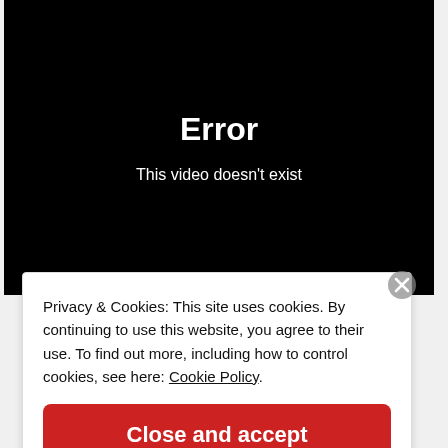Error
This video doesn't exist
Privacy & Cookies: This site uses cookies. By continuing to use this website, you agree to their use. To find out more, including how to control cookies, see here: Cookie Policy
Close and accept